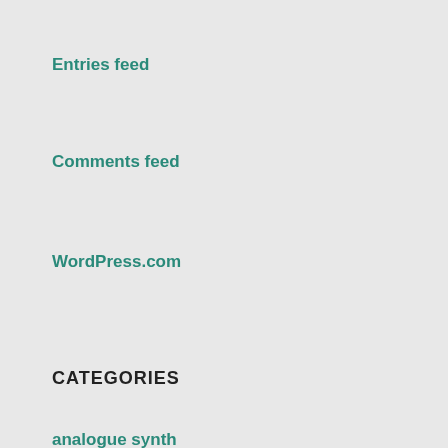Entries feed
Comments feed
WordPress.com
CATEGORIES
analogue synth
Blogging
Computational Linguistics
Computing
Education
Environment